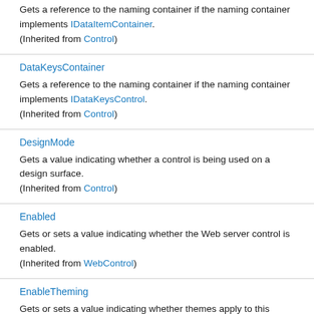Gets a reference to the naming container if the naming container implements IDataItemContainer. (Inherited from Control)
DataKeysContainer
Gets a reference to the naming container if the naming container implements IDataKeysControl. (Inherited from Control)
DesignMode
Gets a value indicating whether a control is being used on a design surface. (Inherited from Control)
Enabled
Gets or sets a value indicating whether the Web server control is enabled. (Inherited from WebControl)
EnableTheming
Gets or sets a value indicating whether themes apply to this